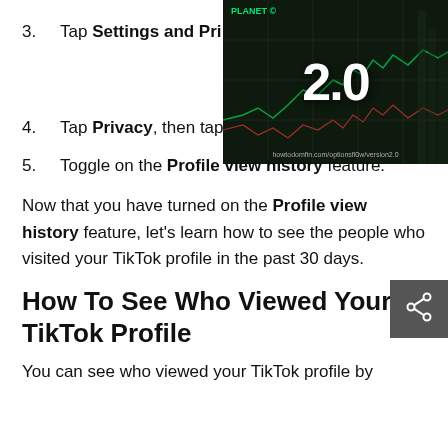3. Tap Settings and Pri...
[Figure (screenshot): Video overlay showing a stock trading chart with large white text '2.0' and a green PLANET logo in the top left corner.]
4. Tap Privacy, then tap...
5. Toggle on the Profile view history feature.
Now that you have turned on the Profile view history feature, let's learn how to see the people who visited your TikTok profile in the past 30 days.
How To See Who Viewed Your TikTok Profile
You can see who viewed your TikTok profile by